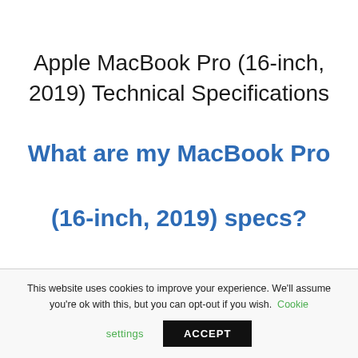Apple MacBook Pro (16-inch, 2019) Technical Specifications
What are my MacBook Pro (16-inch, 2019) specs?
This website uses cookies to improve your experience. We'll assume you're ok with this, but you can opt-out if you wish. Cookie settings ACCEPT